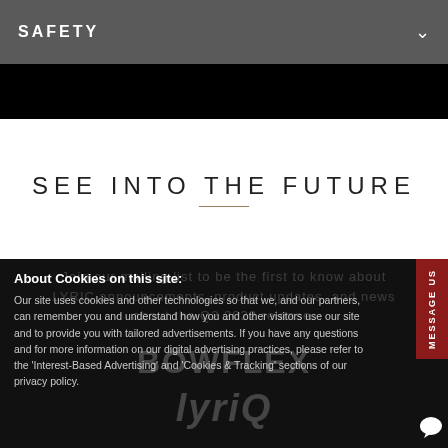SAFETY
SEE INTO THE FUTURE
About Cookies on this site:
Our site uses cookies and other technologies so that we, and our partners, can remember you and understand how you and other visitors use our site and to provide you with tailored advertisements. If you have any questions and for more information on our digital advertising practices, please refer to the 'Interest-Based Advertising' and 'Cookies & Tracking' sections of our privacy policy.